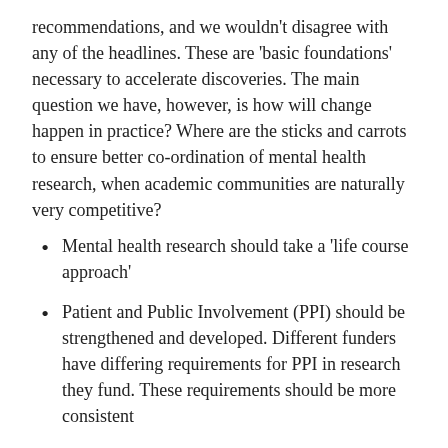recommendations, and we wouldn't disagree with any of the headlines. These are 'basic foundations' necessary to accelerate discoveries. The main question we have, however, is how will change happen in practice? Where are the sticks and carrots to ensure better co-ordination of mental health research, when academic communities are naturally very competitive?
Mental health research should take a 'life course approach'
Patient and Public Involvement (PPI) should be strengthened and developed. Different funders have differing requirements for PPI in research they fund. These requirements should be more consistent
Connections between physical and mental health research should be strengthened
Greater co-ordination and leadership of